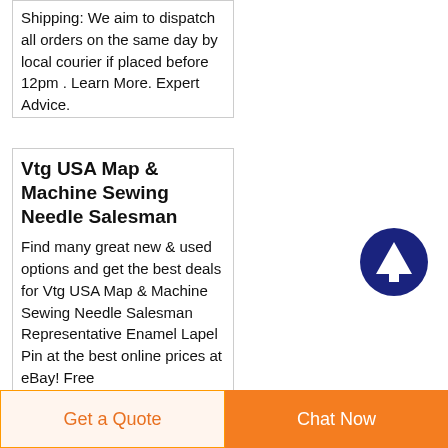Shipping: We aim to dispatch all orders on the same day by local courier if placed before 12pm . Learn More. Expert Advice.
Vtg USA Map & Machine Sewing Needle Salesman
Find many great new & used options and get the best deals for Vtg USA Map & Machine Sewing Needle Salesman Representative Enamel Lapel Pin at the best online prices at eBay! Free
[Figure (other): Dark blue circle button with white upward arrow icon (scroll to top button)]
Get a Quote
Chat Now